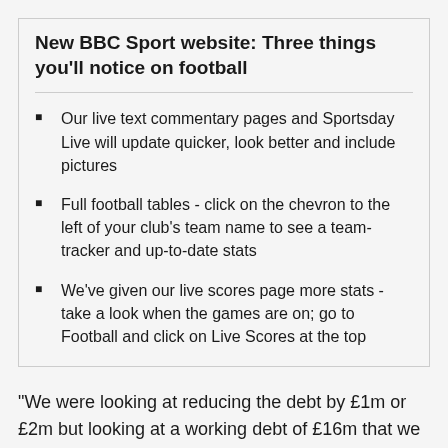New BBC Sport website: Three things you'll notice on football
Our live text commentary pages and Sportsday Live will update quicker, look better and include pictures
Full football tables - click on the chevron to the left of your club's team name to see a team-tracker and up-to-date stats
We've given our live scores page more stats - take a look when the games are on; go to Football and click on Live Scores at the top
"We were looking at reducing the debt by £1m or £2m but looking at a working debt of £16m that we could handle under any circumstances with the cash flow of the club.